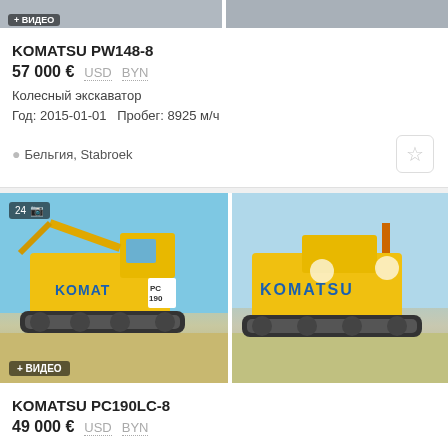[Figure (photo): Two photos of Komatsu PW148-8 wheeled excavator, first with video badge, partially visible top strip]
KOMATSU PW148-8
57 000 € USD BYN
Колесный экскаватор
Год: 2015-01-01   Пробег: 8925 м/ч
Бельгия, Stabroek
[Figure (photo): Two photos of Komatsu PC190LC-8 tracked excavator, yellow, with video badge and count badge showing 24 photos]
KOMATSU PC190LC-8
49 000 € USD BYN